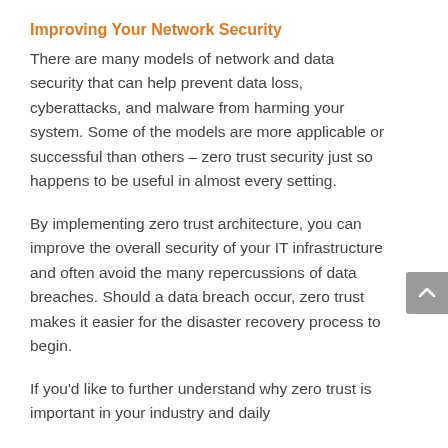Improving Your Network Security
There are many models of network and data security that can help prevent data loss, cyberattacks, and malware from harming your system. Some of the models are more applicable or successful than others – zero trust security just so happens to be useful in almost every setting.
By implementing zero trust architecture, you can improve the overall security of your IT infrastructure and often avoid the many repercussions of data breaches. Should a data breach occur, zero trust makes it easier for the disaster recovery process to begin.
If you'd like to further understand why zero trust is important in your industry and daily…